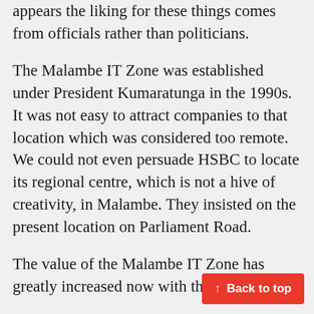appears the liking for these things comes from officials rather than politicians.
The Malambe IT Zone was established under President Kumaratunga in the 1990s. It was not easy to attract companies to that location which was considered too remote. We could not even persuade HSBC to locate its regional centre, which is not a hive of creativity, in Malambe. They insisted on the present location on Parliament Road.
The value of the Malambe IT Zone has greatly increased now with the